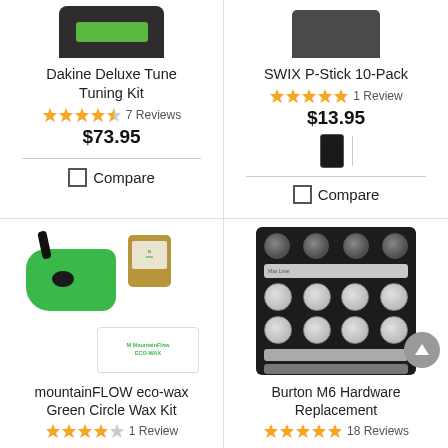[Figure (photo): Dakine Deluxe Tune Tuning Kit product image (partially cropped at top)]
Dakine Deluxe Tune Tuning Kit
7 Reviews
$73.95
Compare
[Figure (photo): SWIX P-Stick 10-Pack product image (partially cropped at top)]
SWIX P-Stick 10-Pack
1 Review
$13.95
[Figure (photo): Color swatch options for SWIX P-Stick: dark/black swatch shown]
Compare
[Figure (photo): mountainFLOW eco-wax Green Circle Wax Kit showing green iron, wax block, and branded card]
mountainFLOW eco-wax Green Circle Wax Kit
1 Review
[Figure (photo): Burton M6 Hardware Replacement packaging showing bolts and hardware components]
Burton M6 Hardware Replacement
18 Reviews